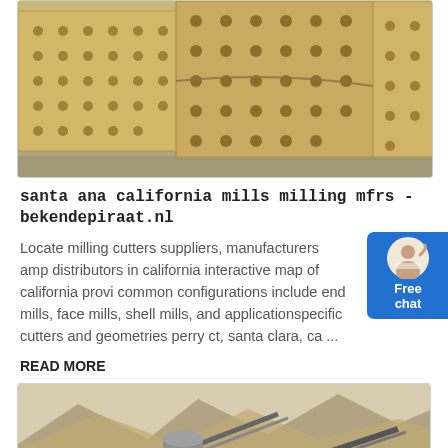[Figure (photo): Industrial milling/manufacturing equipment - tan/yellow wooden or metal crates with circular hole patterns, stacked in warehouse setting]
santa ana california mills milling mfrs - bekendepiraat.nl
Locate milling cutters suppliers, manufacturers amp distributors in california interactive map of california provi common configurations include end mills, face mills, shell mills, and applicationspecific cutters and geometries perry ct, santa clara, ca ...
[Figure (other): Free chat widget with avatar of customer service representative]
READ MORE
[Figure (photo): Outdoor mining/quarrying equipment scene with conveyor belts, crushers, and green machinery in arid desert landscape with mountains in background]